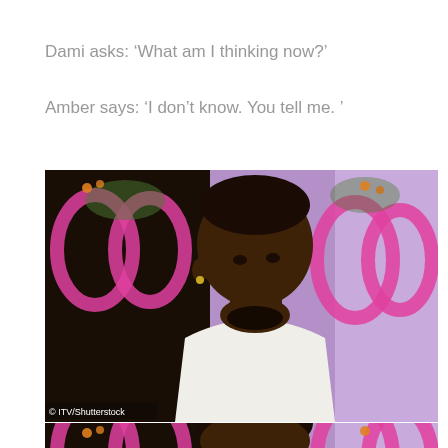Dami asks: ‘What am I thinking now?’

Amber says: ‘I don’t know. You tell me. ’
[Figure (photo): Top photo: A young Black man in a white t-shirt sitting and looking to the side, with pink heart-shaped decorations and purple background (Love Island set). Watermark: © ITV/Shutterstock]
[Figure (photo): Bottom photo: Partial view of the same or similar scene, cropped, showing the top of a person’s head and the pink heart decorations with purple background.]